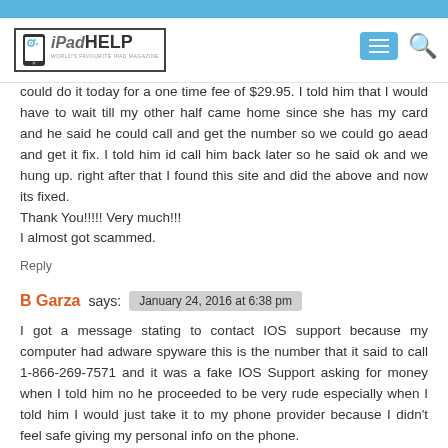iPadHELP - WORLD'S FAVOURITE IPAD MAGAZINE
could do it today for a one time fee of $29.95. I told him that I would have to wait till my other half came home since she has my card and he said he could call and get the number so we could go aead and get it fix. I told him id call him back later so he said ok and we hung up. right after that I found this site and did the above and now its fixed.
Thank You!!!!! Very much!!!
I almost got scammed.
Reply
B Garza says: January 24, 2016 at 6:38 pm
I got a message stating to contact IOS support because my computer had adware spyware this is the number that it said to call 1-866-269-7571 and it was a fake IOS Support asking for money when I told him no he proceeded to be very rude especially when I told him I would just take it to my phone provider because I didn't feel safe giving my personal info on the phone.